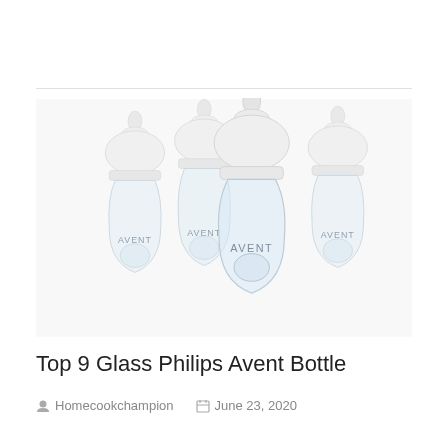[Figure (photo): Four Philips Avent clear glass baby bottles with white caps/nipples arranged in a group, AVENT branding visible on each bottle]
Top 9 Glass Philips Avent Bottle
Homecookchampion   June 23, 2020